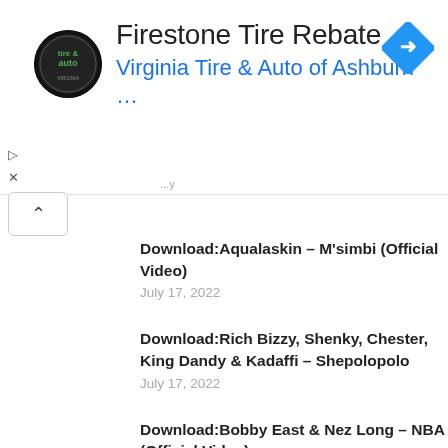[Figure (screenshot): Advertisement banner for Firestone Tire Rebate from Virginia Tire & Auto of Ashburn, with logo, title, subtitle, and navigation arrow icon. Includes play/close ad controls and a scroll-up button.]
Download:Aqualaskin – M'simbi (Official Video)
July 17, 2022
Download:Rich Bizzy, Shenky, Chester, King Dandy & Kadaffi – Shepolopolo
July 17, 2022
Download:Bobby East & Nez Long – NBA (Official Video)
July 3, 2022